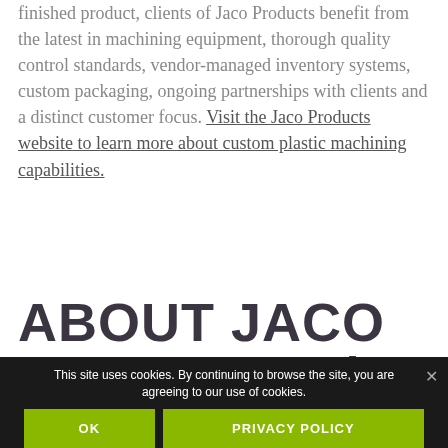finished product, clients of Jaco Products benefit from the latest in machining equipment, thorough quality control standards, vendor-managed inventory systems, custom packaging, ongoing partnerships with clients and a distinct customer focus. Visit the Jaco Products website to learn more about custom plastic machining capabilities.
ABOUT JACO PRODUCTS |
This site uses cookies. By continuing to browse the site, you are agreeing to our use of cookies.